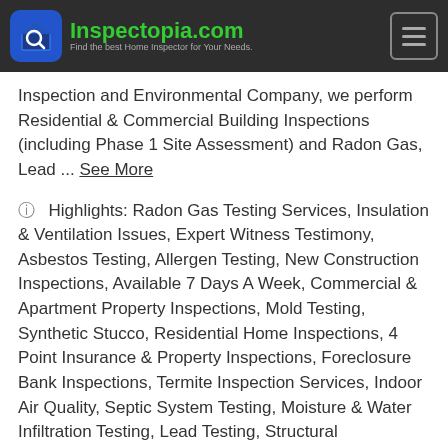Inspectopia.com — Find the best Home Inspector for Your Needs.
Inspection and Environmental Company, we perform Residential & Commercial Building Inspections (including Phase 1 Site Assessment) and Radon Gas, Lead ... See More
Highlights: Radon Gas Testing Services, Insulation & Ventilation Issues, Expert Witness Testimony, Asbestos Testing, Allergen Testing, New Construction Inspections, Available 7 Days A Week, Commercial & Apartment Property Inspections, Mold Testing, Synthetic Stucco, Residential Home Inspections, 4 Point Insurance & Property Inspections, Foreclosure Bank Inspections, Termite Inspection Services, Indoor Air Quality, Septic System Testing, Moisture & Water Infiltration Testing, Lead Testing, Structural Inspections, Mechanicals